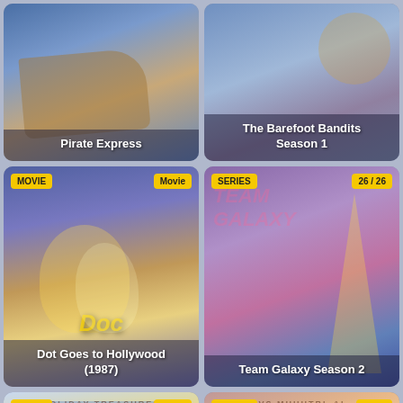[Figure (screenshot): Pirate Express animated series cover art — cartoon pirate ship scene]
Pirate Express
[Figure (screenshot): The Barefoot Bandits Season 1 animated series cover art]
The Barefoot Bandits Season 1
[Figure (screenshot): Dot Goes to Hollywood (1987) animated movie cover with lion and girl. Badges: MOVIE (left), Movie (right)]
MOVIE
Movie
Dot Goes to Hollywood (1987)
[Figure (screenshot): Team Galaxy Season 2 animated series cover. Badges: SERIES (left), 26 / 26 (right)]
SERIES
26 / 26
Team Galaxy Season 2
[Figure (screenshot): Bugs Bunny's Looney Christmas Tales animated movie cover. Badges: MOVIE (left), Movie (right)]
MOVIE
Movie
[Figure (screenshot): Animated series cover — space/sci-fi theme. Badges: SERIES (left), 29 / ? (right)]
SERIES
29 / ?